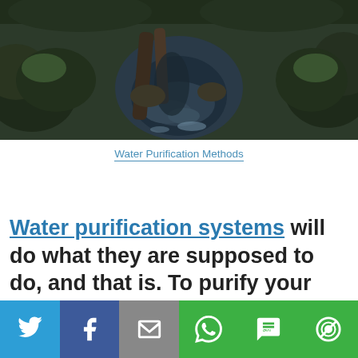[Figure (photo): Photo of a dark forest stream with mossy rocks, fallen logs, and murky water flowing through dense woodland]
Water Purification Methods
Water purification systems will do what they are supposed to do, and that is. To purify your water to the highest on the
[Figure (infographic): Social sharing bar with icons for Twitter, Facebook, Email, WhatsApp, SMS, and More]